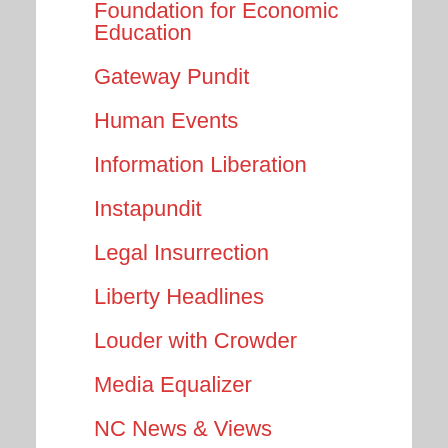Foundation for Economic Education
Gateway Pundit
Human Events
Information Liberation
Instapundit
Legal Insurrection
Liberty Headlines
Louder with Crowder
Media Equalizer
NC News & Views
Power Line
Project Veritas
Rush Limbaugh
Taki's Magazine